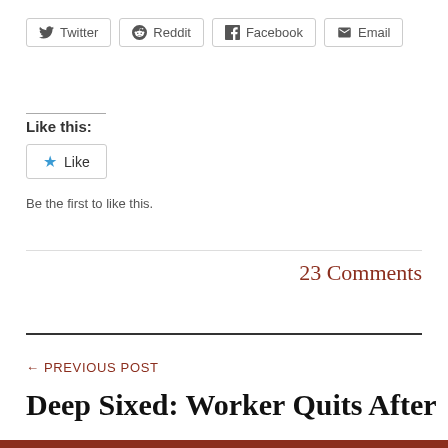[Figure (other): Social share buttons: Twitter, Reddit, Facebook, Email]
Like this:
[Figure (other): Like button widget with blue star icon and Like label]
Be the first to like this.
23 Comments
← PREVIOUS POST
Deep Sixed: Worker Quits After